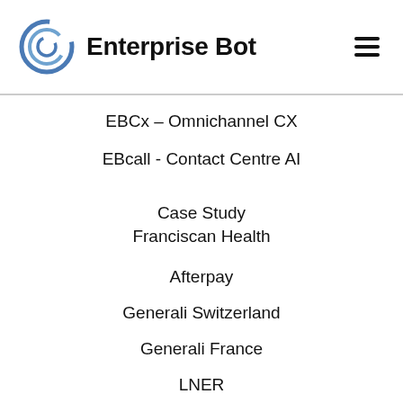Enterprise Bot
EBCx – Omnichannel CX
EBcall - Contact Centre AI
Case Study
Franciscan Health
Afterpay
Generali Switzerland
Generali France
LNER